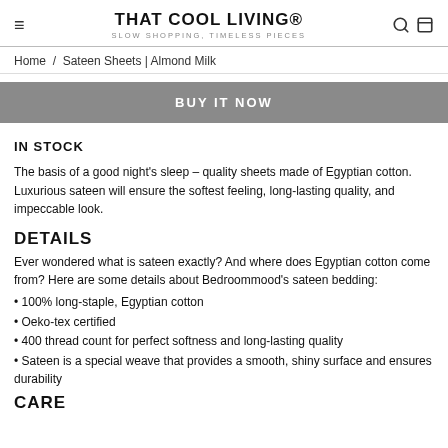THAT COOL LIVING® SLOW SHOPPING, TIMELESS PIECES
Home / Sateen Sheets | Almond Milk
BUY IT NOW
IN STOCK
The basis of a good night's sleep – quality sheets made of Egyptian cotton. Luxurious sateen will ensure the softest feeling, long-lasting quality, and impeccable look.
DETAILS
Ever wondered what is sateen exactly? And where does Egyptian cotton come from? Here are some details about Bedroommood's sateen bedding:
• 100% long-staple, Egyptian cotton
• Oeko-tex certified
• 400 thread count for perfect softness and long-lasting quality
• Sateen is a special weave that provides a smooth, shiny surface and ensures durability
CARE